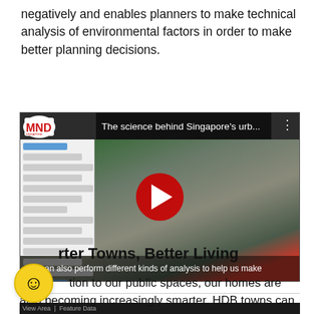negatively and enables planners to make technical analysis of environmental factors in order to make better planning decisions.
[Figure (screenshot): YouTube video thumbnail showing 'The science behind Singapore's urb...' with MND Singapore logo, aerial 3D view of Singapore urban development with play button overlay and caption 'We can also perform different kinds of analysis to help us make']
Smarter Towns, Better Living
In addition to our public spaces, our homes are also becoming increasingly smarter. HDB towns can be more